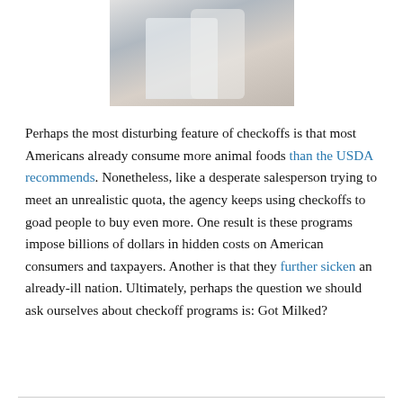[Figure (photo): Photo of a person in a hospital gown with a medical professional nearby, upper body visible, wearing a necklace.]
Perhaps the most disturbing feature of checkoffs is that most Americans already consume more animal foods than the USDA recommends. Nonetheless, like a desperate salesperson trying to meet an unrealistic quota, the agency keeps using checkoffs to goad people to buy even more. One result is these programs impose billions of dollars in hidden costs on American consumers and taxpayers. Another is that they further sicken an already-ill nation. Ultimately, perhaps the question we should ask ourselves about checkoff programs is: Got Milked?